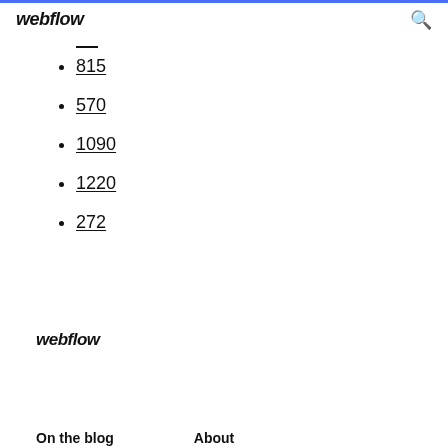webflow
815
570
1090
1220
272
webflow
On the blog    About